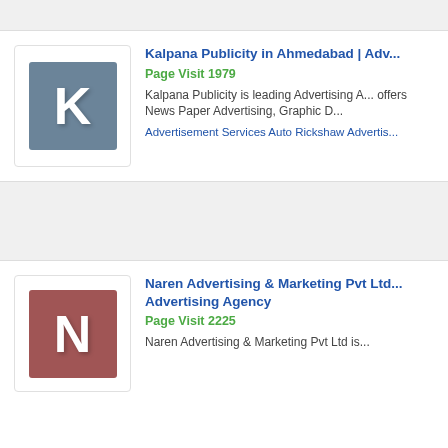[Figure (logo): Kalpana Publicity logo: grey square with white letter K]
Kalpana Publicity in Ahmedabad | Adv...
Page Visit 1979
Kalpana Publicity is leading Advertising A... offers News Paper Advertising, Graphic D...
Advertisement Services Auto Rickshaw Advertis...
[Figure (logo): Naren Advertising & Marketing Pvt Ltd logo: dark red square with white letter N]
Naren Advertising & Marketing Pvt Ltd... Advertising Agency
Page Visit 2225
Naren Advertising & Marketing Pvt Ltd is...